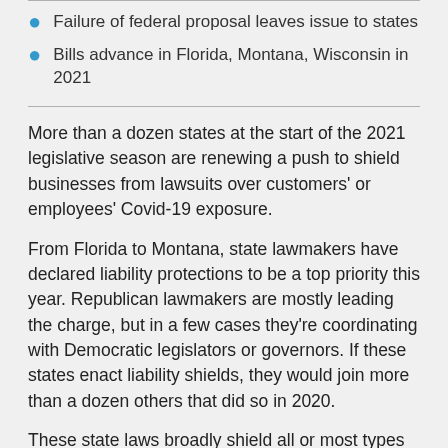Failure of federal proposal leaves issue to states
Bills advance in Florida, Montana, Wisconsin in 2021
More than a dozen states at the start of the 2021 legislative season are renewing a push to shield businesses from lawsuits over customers' or employees' Covid-19 exposure.
From Florida to Montana, state lawmakers have declared liability protections to be a top priority this year. Republican lawmakers are mostly leading the charge, but in a few cases they're coordinating with Democratic legislators or governors. If these states enact liability shields, they would join more than a dozen others that did so in 2020.
These state laws broadly shield all or most types of businesses from coronavirus-related liability lawsuits,